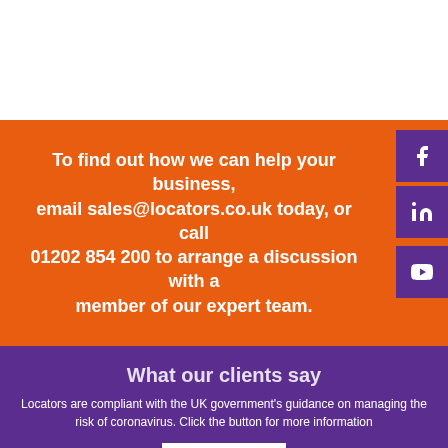To find out how we can help your business, email sales@locators.co.uk today, or call 01202 854 200 to arrange a discussion with a member of our expert team.
What our clients say
Locators are compliant with the UK government's guidance on managing the risk of coronavirus. Click the button for more information
Click Here